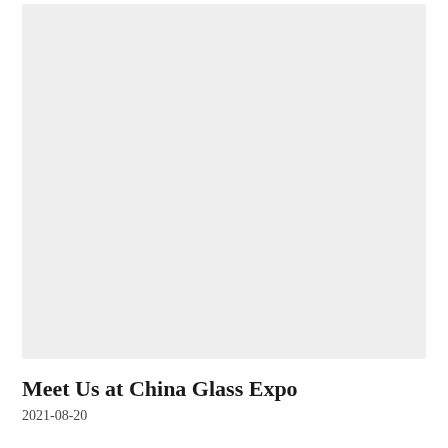[Figure (photo): Large light gray placeholder image area occupying the upper portion of the page]
Meet Us at China Glass Expo
2021-08-20